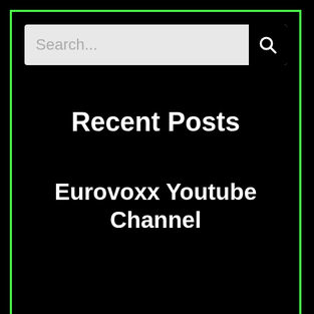[Figure (screenshot): Search bar with text input field showing placeholder 'Search...' and a black search icon button on the right]
Recent Posts
Eurovoxx Youtube Channel
About Us
Meet The Team
Join Us
About Us